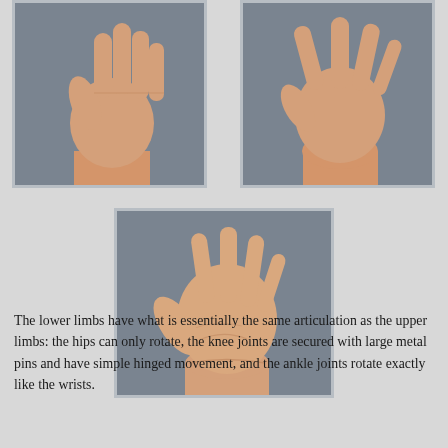[Figure (photo): Three photographs of articulated doll/mannequin hands showing wrist and finger articulation. Top-left: back of hand with fingers together pointing upward. Top-right: hand with fingers spread, viewed from back. Center-bottom: palm-side view of open hand with fingers spread.]
The lower limbs have what is essentially the same articulation as the upper limbs: the hips can only rotate, the knee joints are secured with large metal pins and have simple hinged movement, and the ankle joints rotate exactly like the wrists.